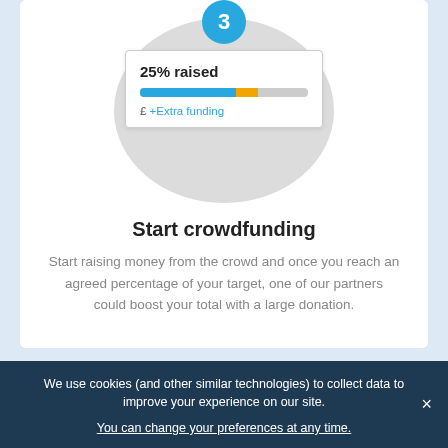[Figure (infographic): Step 3 crowdfunding widget infographic: a large light grey circle with a blue badge numbered '3' at top, and a white card widget inside showing '25% raised', a progress bar with blue and orange segments, and '£ +Extra funding' in blue text.]
Start crowdfunding
Start raising money from the crowd and once you reach an agreed percentage of your target, one of our partners could boost your total with a large donation.
We use cookies (and other similar technologies) to collect data to improve your experience on our site.
You can change your preferences at any time.